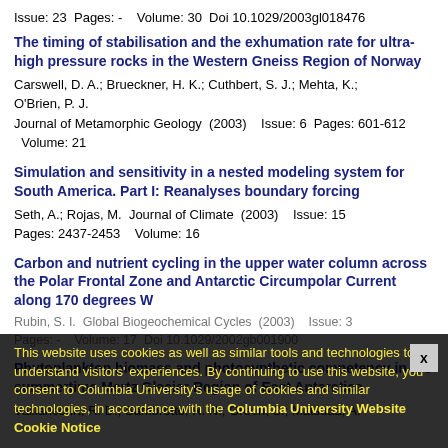Issue: 23  Pages: -    Volume: 30  Doi 10.1029/2003gl018476
The timing of stabilisation and the exhumation rate for ultra-high pressure rocks in the Western Gneiss Region of Norway
Carswell, D. A.; Brueckner, H. K.; Cuthbert, S. J.; Mehta, K.; O'Brien, P. J.
Journal of Metamorphic Geology  (2003)     Issue: 6  Pages: 601-612   Volume: 21
Simulation and sensitivity in a nested modeling system for South America. Part I: Reanalyses boundary forcing
Seth, A.; Rojas, M.  Journal of Climate  (2003)     Issue: 15
Pages: 2437-2453    Volume: 16
Carbon and nutrient cycling in the upper water column across the Polar Frontal Zone and Antarctic Circumpolar Current along 170 degrees W
Rubin, S. I.  Global Biogeochemical Cycles  (2003)   Issue: 3
Pages: -   Volume: 17  Doi 10.1029/2002gb001900
Phytoplankton biomass and photosynthetic competency in the summertime Mertz Glacier Region of East Antarctica
Vaillancourt, R. D.; Sambrotto, R. N.; Green, S.; Matsuda, A.
This website uses cookies as well as similar tools and technologies to understand visitors' experiences. By continuing to use this website, you consent to Columbia University's usage of cookies and similar technologies, in accordance with the Columbia University Website Cookie Notice